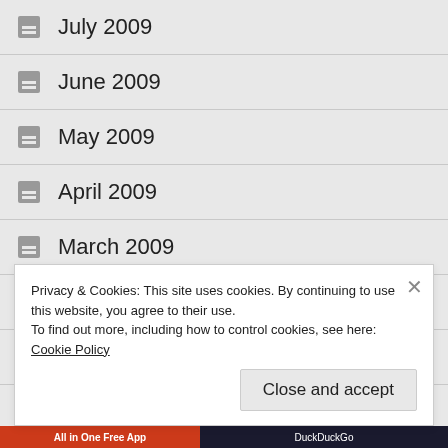July 2009
June 2009
May 2009
April 2009
March 2009
February 2009
January 2009
Privacy & Cookies: This site uses cookies. By continuing to use this website, you agree to their use.
To find out more, including how to control cookies, see here: Cookie Policy
Close and accept